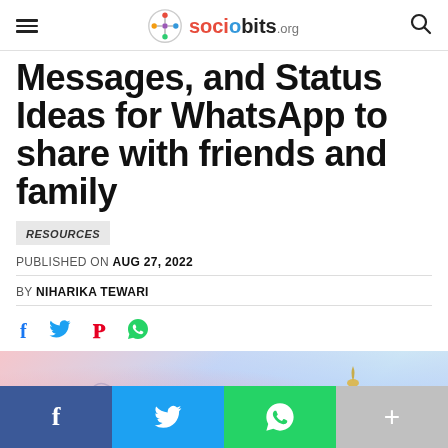sociobits.org
Messages, and Status Ideas for WhatsApp to share with friends and family
RESOURCES
PUBLISHED ON AUG 27, 2022
BY NIHARIKA TEWARI
[Figure (infographic): Social share icons: Facebook (f), Twitter (bird), Pinterest (P), WhatsApp (phone)]
[Figure (photo): Happy greeting card image with watercolor background showing 'HAPPY' text and decorative elements]
[Figure (infographic): Bottom share bar with Facebook (blue), Twitter (cyan), WhatsApp (green), and More (+) grey buttons]